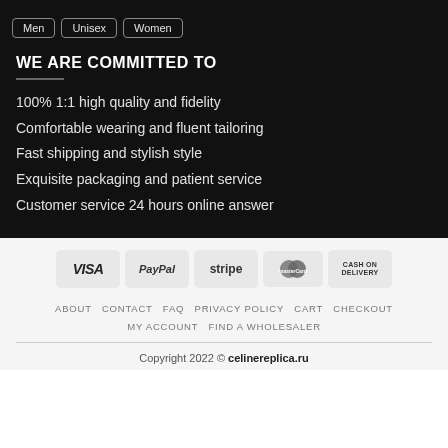Men
Unisex
Women
WE ARE COMMITTED TO
100% 1:1 high quality and fidelity
Comfortable wearing and fluent tailoring
Fast shipping and stylish style
Exquisite packaging and patient service
Customer service 24 hours online answer
[Figure (other): Payment method icons: VISA, PayPal, stripe, MasterCard, CASH ON DELIVERY]
ABOUT  CONTACT  FAQ  PRIVACY POLICY  CART  CHECKOUT  MY ACCOUNT  FIND A WHOLESALER
Copyright 2022 © celinereplica.ru